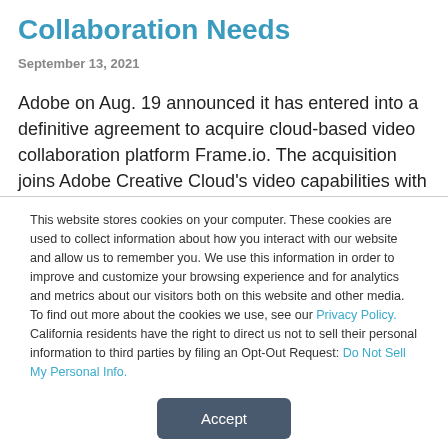Collaboration Needs
September 13, 2021
Adobe on Aug. 19 announced it has entered into a definitive agreement to acquire cloud-based video collaboration platform Frame.io. The acquisition joins Adobe Creative Cloud's video capabilities with
This website stores cookies on your computer. These cookies are used to collect information about how you interact with our website and allow us to remember you. We use this information in order to improve and customize your browsing experience and for analytics and metrics about our visitors both on this website and other media. To find out more about the cookies we use, see our Privacy Policy. California residents have the right to direct us not to sell their personal information to third parties by filing an Opt-Out Request: Do Not Sell My Personal Info.
Accept